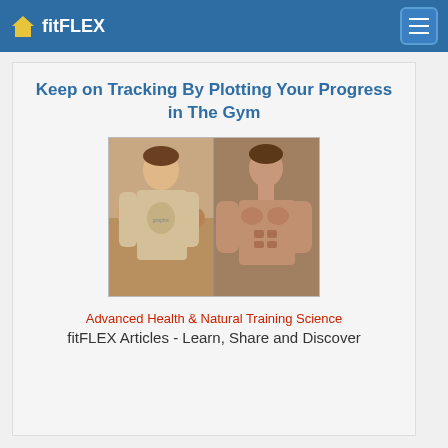fitFLEX
Keep on Tracking By Plotting Your Progress in The Gym
[Figure (photo): Before-and-after comparison photo of a young man: on the left wearing a casual shirt in a crowd, on the right shirtless showing muscular physique]
Advanced Health & Natural Training Science
fitFLEX Articles - Learn, Share and Discover